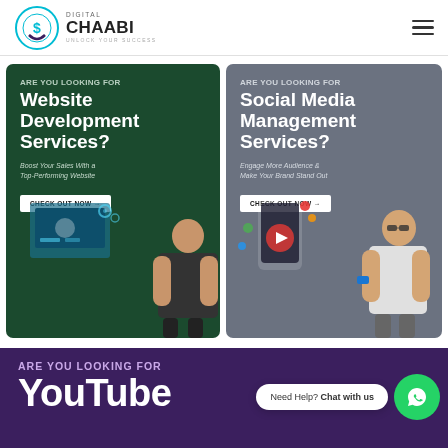[Figure (logo): Digital Chaabi logo with circular icon and text 'DIGITAL CHAABI - UNLOCK YOUR SUCCESS']
[Figure (infographic): Dark green banner: ARE YOU LOOKING FOR Website Development Services? Boost Your Sales With a Top-Performing Website. CHECK OUT NOW button. Person pointing at website illustration.]
[Figure (infographic): Grey banner: ARE YOU LOOKING FOR Social Media Management Services? Engage More Audience & Make Your Brand Stand Out. CHECK OUT NOW button. Person pointing at social media illustration.]
[Figure (infographic): Purple banner (partial): ARE YOU LOOKING FOR YouTube (text cut off). WhatsApp chat widget: Need Help? Chat with us.]